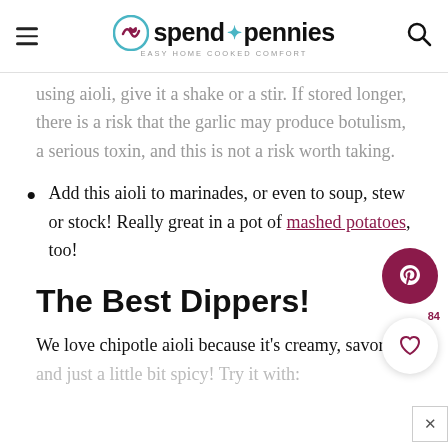spend with pennies — Easy Home Cooked Comfort
using aioli, give it a shake or a stir. If stored longer, there is a risk that the garlic may produce botulism, a serious toxin, and this is not a risk worth taking.
Add this aioli to marinades, or even to soup, stew or stock! Really great in a pot of mashed potatoes, too!
The Best Dippers!
We love chipotle aioli because it's creamy, savory,
and just a little bit spicy! Try it with: